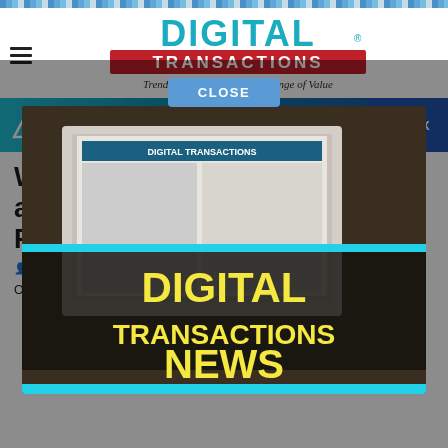DIGITAL TRANSACTIONS – Trends in the Electronic Exchange of Value
[Figure (logo): Digital Transactions logo with teal 'DIGITAL' text and red background 'TRANSACTIONS' banner, with tagline 'Trends in the Electronic Exchange of Value']
[Figure (infographic): Digital Transactions News promotional modal overlay showing a laptop with Digital Transactions magazine on screen, with text 'DIGITAL TRANSACTIONS NEWS' in bold yellow letters on dark overlay, with a CLOSE button at top]
World's Most Reputable Cryptocurrency Exchanges Potentially Facilitating Fraud
John | Co... | Processing
Online trading of cryptocurrencies has become a hot market, and the